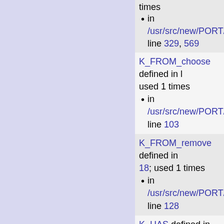times
in /usr/src/new/PORT/B/s... line 329, 569
K_FROM_choose defined in ... used 1 times
in /usr/src/new/PORT/B/s... line 103
K_FROM_remove defined in ... 18; used 1 times
in /usr/src/new/PORT/B/s... line 128
K_HAS defined in line 66; us... times
in /usr/src/new/PORT/B/s... line 72
K_HOW_TO defined in line 5... used 2 times
in /usr/src/new/PORT/B/s...